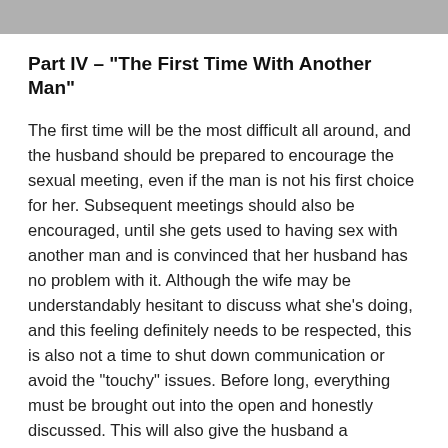[Figure (photo): Gray/muted photo strip at top of page, partially visible]
Part IV – “The First Time With Another Man”
The first time will be the most difficult all around, and the husband should be prepared to encourage the sexual meeting, even if the man is not his first choice for her. Subsequent meetings should also be encouraged, until she gets used to having sex with another man and is convinced that her husband has no problem with it. Although the wife may be understandably hesitant to discuss what she’s doing, and this feeling definitely needs to be respected, this is also not a time to shut down communication or avoid the “touchy” issues. Before long, everything must be brought out into the open and honestly discussed. This will also give the husband a